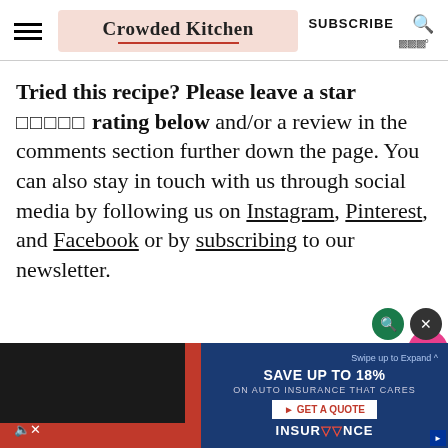Crowded Kitchen | SUBSCRIBE
Tried this recipe? Please leave a star ☆☆☆☆☆ rating below and/or a review in the comments section further down the page. You can also stay in touch with us through social media by following us on Instagram, Pinterest, and Facebook or by subscribing to our newsletter.
[Figure (screenshot): Bottom advertisement banner: video panel on left with red background and mute icon, blue insurance advertisement panel on right showing 'Swipe up to Expand ^', 'SAVE UP TO 18%', 'ON AUTO AUTO INSURANCE THAT CARES', 'GET A QUOTE' button, and 'INSURANCE' brand text]